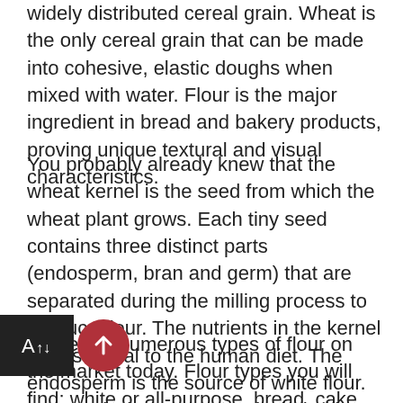widely distributed cereal grain. Wheat is the only cereal grain that can be made into cohesive, elastic doughs when mixed with water. Flour is the major ingredient in bread and bakery products, proving unique textural and visual characteristics.
You probably already knew that the wheat kernel is the seed from which the wheat plant grows. Each tiny seed contains three distinct parts (endosperm, bran and germ) that are separated during the milling process to produce flour. The nutrients in the kernel are essential to the human diet. The endosperm is the source of white flour. Bran and wheat germ are included in whole wheat flour and can also be purchased separately.
There are numerous types of flour on the market today. Flour types you will find: white or all-purpose, bread, cake, self-rising, pastry, and whole-wheat. All types have different purposes in baking. Know what type of flour you need before beginning your baking